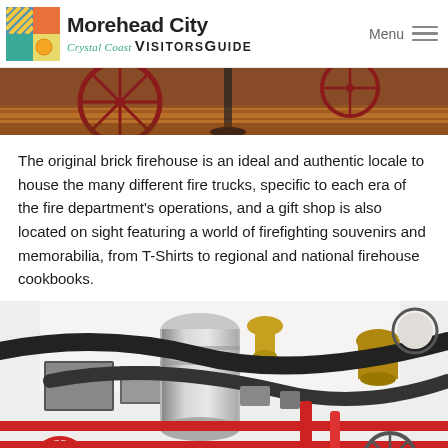Morehead City Crystal Coast VISITORSGUIDE | Menu
[Figure (photo): Close-up of antique fire truck interior showing wooden wheel spokes and red painted wood floor in a museum setting]
The original brick firehouse is an ideal and authentic locale to house the many different fire trucks, specific to each era of the fire department's operations, and a gift shop is also located on sight featuring a world of firefighting souvenirs and memorabilia, from T-Shirts to regional and national firehouse cookbooks.
[Figure (photo): Close-up of antique fire engine machinery showing silver boiler, brass decorative bells, red metal frame, large rubber hoses, and spoked wheels in a museum setting]